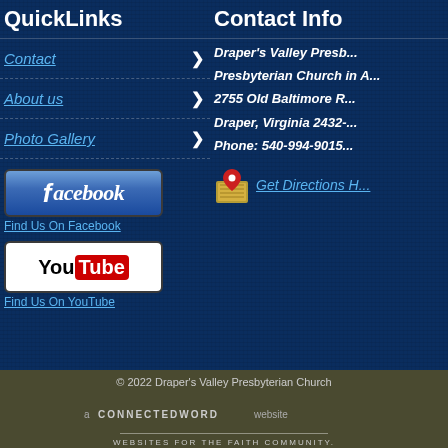QuickLinks
Contact >
About us >
Photo Gallery >
[Figure (logo): Facebook logo button]
Find Us On Facebook
[Figure (logo): YouTube logo button]
Find Us On YouTube
Contact Info
Draper's Valley Presb... Presbyterian Church in A... 2755 Old Baltimore R... Draper, Virginia 2432-... Phone: 540-994-9015...
Get Directions H...
© 2022 Draper's Valley Presbyterian Church
a CONNECTEDWORD website WEBSITES FOR THE FAITH COMMUNITY.